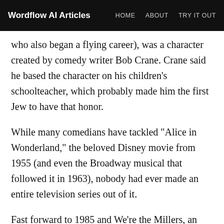Wordflow AI Articles | HOME | ABOUT | TRY IT OUT
who also began a flying career), was a character created by comedy writer Bob Crane. Crane said he based the character on his children's schoolteacher, which probably made him the first Jew to have that honor.
While many comedians have tackled "Alice in Wonderland," the beloved Disney movie from 1955 (and even the Broadway musical that followed it in 1963), nobody had ever made an entire television series out of it.
Fast forward to 1985 and We're the Millers, an inanely funny movie about a group of friends on the lam who pretend to be an intergalactic family for the sake of